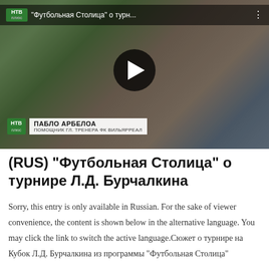[Figure (screenshot): YouTube video thumbnail screenshot showing a bearded man being interviewed outdoors. An NTV lower-third graphic shows 'ПАБЛО АРБЕЛОА / ПОМОЩНИК ГЛ. ТРЕНЕРА ФК ВИЛЬЯРРЕАЛ'. The video title reads '"Футбольная Столица" о турн...' with a play button overlay.]
(RUS) "Футбольная Столица" о турнире Л.Д. Бурчалкина
Sorry, this entry is only available in Russian. For the sake of viewer convenience, the content is shown below in the alternative language. You may click the link to switch the active language.Сюжет о турнире на Кубок Л.Д. Бурчалкина из программы "Футбольная Столица"